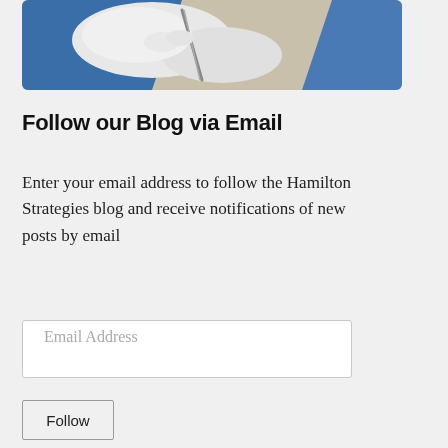[Figure (photo): A person in blue surgical scrubs and white latex gloves handling a medical instrument or swab, in a clinical setting.]
Follow our Blog via Email
Enter your email address to follow the Hamilton Strategies blog and receive notifications of new posts by email
Email Address
Follow